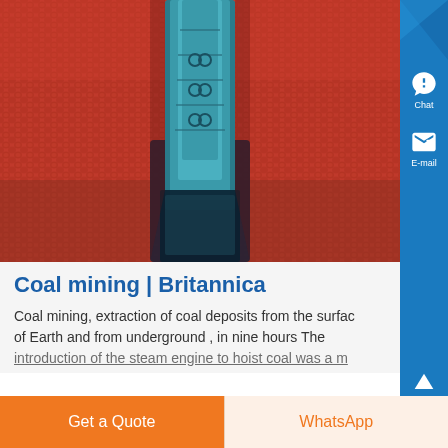[Figure (photo): Close-up photo of a red/orange coal or mesh surface with a blue-teal object or groove running vertically through the center]
Coal mining | Britannica
Coal mining, extraction of coal deposits from the surface of Earth and from underground , in nine hours The introduction of the steam engine to hoist coal was a m…
Get a Quote
WhatsApp